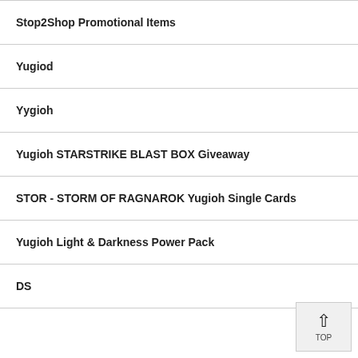Stop2Shop Promotional Items
Yugiod
Yygioh
Yugioh STARSTRIKE BLAST BOX Giveaway
STOR - STORM OF RAGNAROK Yugioh Single Cards
Yugioh Light & Darkness Power Pack
DS